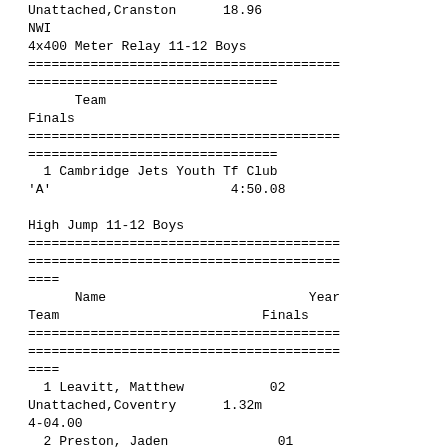Unattached,Cranston      18.96
NWI
4x400 Meter Relay 11-12 Boys
========================================
================================
      Team                                Finals
========================================
================================
  1 Cambridge Jets Youth Tf Club 'A'                       4:50.08
High Jump 11-12 Boys
========================================
========================================
====
      Name                          Year Team                          Finals
========================================
========================================
====
  1 Leavitt, Matthew           02 Unattached,Coventry      1.32m 4-04.00
  2 Preston, Jaden              01 Granite Stat,Manche      1.22m 4-00.00
  3 Poublon, Michael            02 Nashua Pal S,Nashua      1.12m